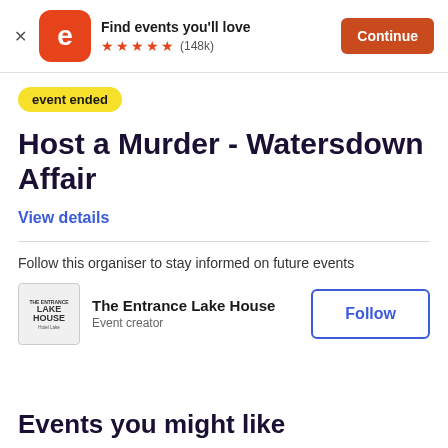[Figure (screenshot): Eventbrite app banner with logo, tagline 'Find events you'll love', 5-star rating (148k reviews), and a Continue button]
event ended
Host a Murder - Watersdown Affair
View details
Follow this organiser to stay informed on future events
[Figure (logo): The Entrance Lake House logo]
The Entrance Lake House
Event creator
Follow
Events you might like